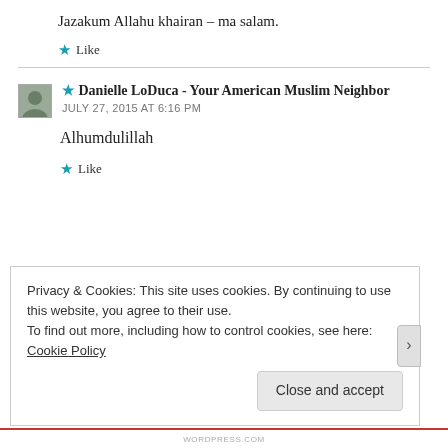Jazakum Allahu khairan – ma salam.
★ Like
★ Danielle LoDuca - Your American Muslim Neighbor
JULY 27, 2015 AT 6:16 PM
Alhumdulillah
★ Like
Privacy & Cookies: This site uses cookies. By continuing to use this website, you agree to their use.
To find out more, including how to control cookies, see here:
Cookie Policy
Close and accept